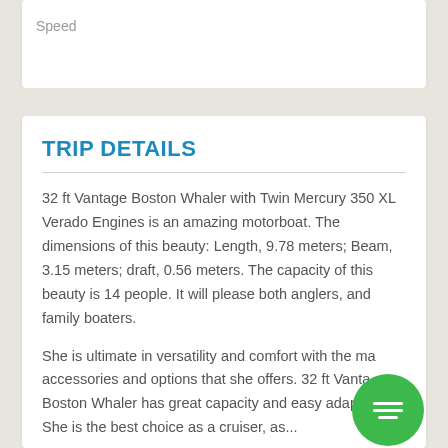Speed
TRIP DETAILS
32 ft Vantage Boston Whaler with Twin Mercury 350 XL Verado Engines is an amazing motorboat. The dimensions of this beauty: Length, 9.78 meters; Beam, 3.15 meters; draft, 0.56 meters. The capacity of this beauty is 14 people. It will please both anglers, and family boaters.
She is ultimate in versatility and comfort with the many accessories and options that she offers. 32 ft Vantage Boston Whaler has great capacity and easy adoptability. She is the best choice as a cruiser, as...